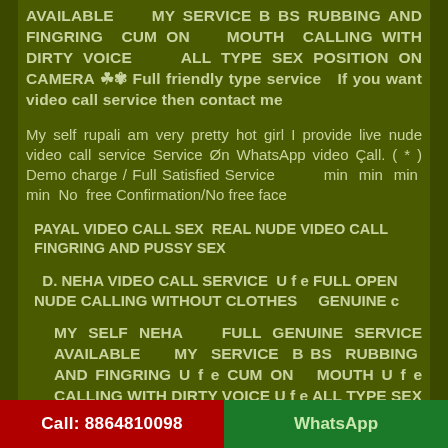AVAILABLE    MY SERVICE B BS RUBBING AND FINGRING  CUM ON   MOUTH  CALLING WITH DIRTY VOICE    ALL TYPE SEX POSITION ON CAMERA ☘✾ Full friendly type service   If you want video call service then contact me
My self rupali am very pretty hot girl I provide live nude video call service Service Øn WhatsApp video Çall. ( * ) Demo charge / Full Satisfied Service        min  min  min  min  No  free Confirmation/No free face
PAYAL VIDEO CALL SEX  REAL NUDE VIDEO CALL  FINGRING AND PUSSY SEX
D. NEHA VIDEO CALL SERVICE  U f e FULL OPEN NUDE CALLING WITHOUT CLOTHES     GENUINE c
MY  SELF  NEHA      FULL  GENUINE  SERVICE AVAILABLE    MY  SERVICE  B BS  RUBBING  AND FINGRING U f e CUM ON   MOUTH U f e CALLING WITH DIRTY VOICE U f e ALL TYPE SEX POSITION
Call: 8864810098    WhatsApp